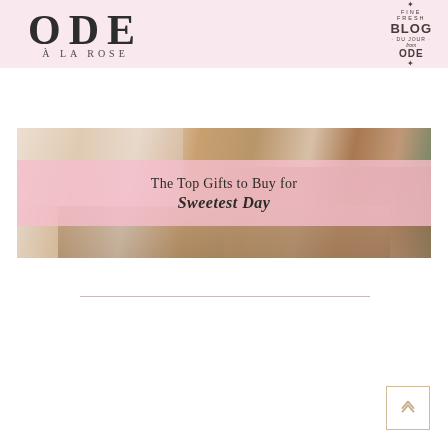ODE À LA ROSE — Fine Fresh Blog du jour from ODE
[Figure (photo): Promotional blog post image showing chocolates and gifts in a box with a pink semi-transparent overlay band containing the text 'The Top Gifts to Buy for Sweetest Day']
The Top Gifts to Buy for Sweetest Day